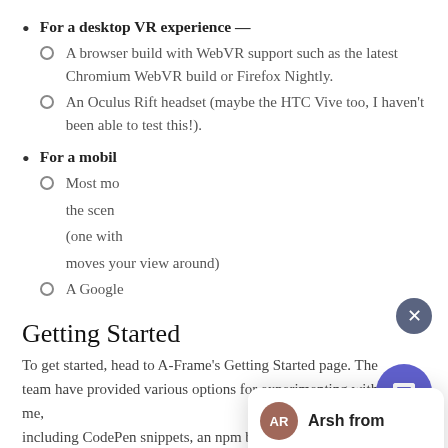For a desktop VR experience — A browser build with WebVR support such as the latest Chromium WebVR build or Firefox Nightly. An Oculus Rift headset (maybe the HTC Vive too, I haven't been able to test this!).
For a mobil[e VR experience] — Most mo[bile phones support] the scen[e] (one with [gyroscope that] moves your view around) A Google[Cardboard headset]
Getting Started
To get started, head to A-Frame's Getting Started page. The team have provided various options for experimenting with A-Frame, including CodePen snippets, an npm build, a downloadable or CDN
[Figure (screenshot): A chat widget overlay showing agent 'Arsh from' with avatar 'AR', greeting 'Hi, How can I help you?' and a message input field. A close button (x) is visible top right. A purple chat launcher button is at the bottom right.]